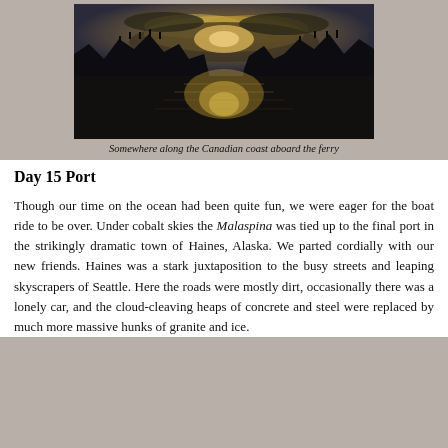[Figure (photo): Dramatic sunset or sunrise over a calm fjord or coastal inlet along the Canadian coast, with dark silhouetted mountains on both sides and golden light reflecting on the water, viewed from a ferry.]
Somewhere along the Canadian coast aboard the ferry
Day 15 Port
Though our time on the ocean had been quite fun, we were eager for the boat ride to be over. Under cobalt skies the Malaspina was tied up to the final port in the strikingly dramatic town of Haines, Alaska. We parted cordially with our new friends. Haines was a stark juxtaposition to the busy streets and leaping skyscrapers of Seattle. Here the roads were mostly dirt, occasionally there was a lonely car, and the cloud-cleaving heaps of concrete and steel were replaced by much more massive hunks of granite and ice.